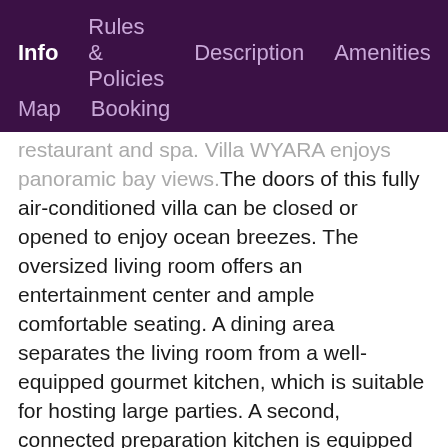Info  Rules & Policies  Description  Amenities  Map  Booking
restaurant and spa. Villa WYARA enjoys panoramic bay views.The doors of this fully air-conditioned villa can be closed or opened to enjoy ocean breezes. The oversized living room offers an entertainment center and ample comfortable seating. A dining area separates the living room from a well-equipped gourmet kitchen, which is suitable for hosting large parties. A second, connected preparation kitchen is equipped with a large refrigerator and wine cooler.All the bedrooms and the living room have Apple and U.S. satellite TV and Sonos sound systems. Two separate staircases on either side of the villa lead to the 2 master suites on the upper floor. Each master suite has a king-size bed, a dressing area, private balcony and an ensuite bathroom with a rain shower and bathtub.The 4 spacious guest rooms are located on the main floor. Each bedroom has a European king-size bed and an ensuite bathroom with shower. Two bedrooms have ocean views,